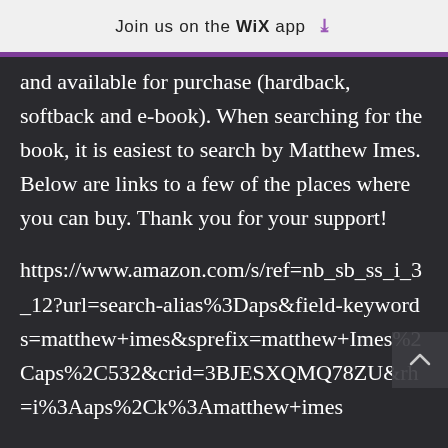Join us on the WiX app ↓
and available for purchase (hardback, softback and e-book). When searching for the book, it is easiest to search by Matthew Imes. Below are links to a few of the places where you can buy. Thank you for your support!
https://www.amazon.com/s/ref=nb_sb_ss_i_3_12?url=search-alias%3Daps&field-keywords=matthew+imes&sprefix=matthew+Imes%2Caps%2C532&crid=3BJESXQMQ78ZU&rh=i%3Aaps%2Ck%3Amatthew+imes